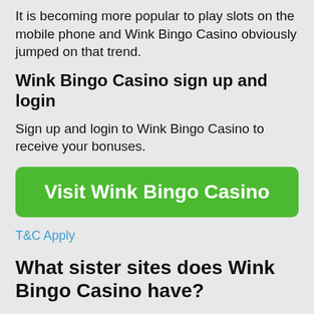It is becoming more popular to play slots on the mobile phone and Wink Bingo Casino obviously jumped on that trend.
Wink Bingo Casino sign up and login
Sign up and login to Wink Bingo Casino to receive your bonuses.
[Figure (other): Green button labeled 'Visit Wink Bingo Casino']
T&C Apply
What sister sites does Wink Bingo Casino have?
Wink Bingo Casino has the following sister